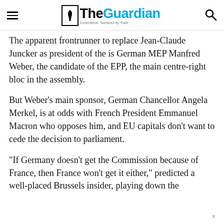The Guardian — Conscience, Nurtured by Truth
The apparent frontrunner to replace Jean-Claude Juncker as president of the is German MEP Manfred Weber, the candidate of the EPP, the main centre-right bloc in the assembly.
But Weber's main sponsor, German Chancellor Angela Merkel, is at odds with French President Emmanuel Macron who opposes him, and EU capitals don't want to cede the decision to parliament.
“If Germany doesn’t get the Commission because of France, then France won’t get it either,” predicted a well-placed Brussels insider, playing down the